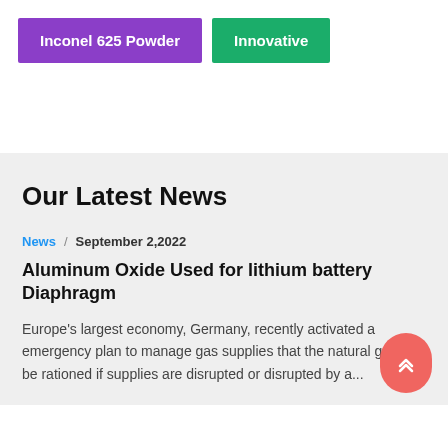Inconel 625 Powder
Innovative
Our Latest News
News / September 2,2022
Aluminum Oxide Used for lithium battery Diaphragm
Europe's largest economy, Germany, recently activated a emergency plan to manage gas supplies that the natural g could be rationed if supplies are disrupted or disrupted by a...